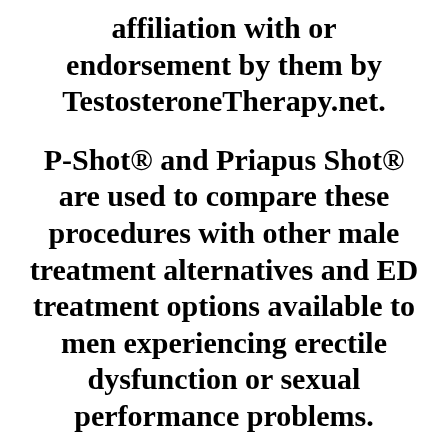affiliation with or endorsement by them by TestosteroneTherapy.net.
P-Shot® and Priapus Shot® are used to compare these procedures with other male treatment alternatives and ED treatment options available to men experiencing erectile dysfunction or sexual performance problems.